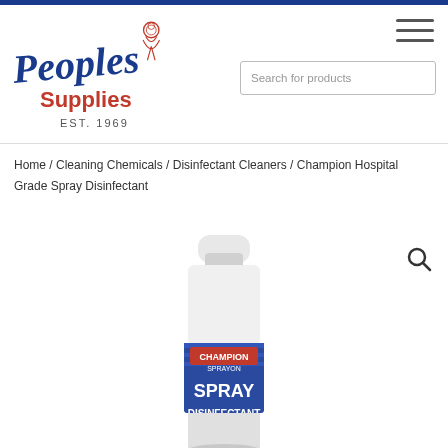[Figure (logo): Peoples Supplies Est. 1969 logo with cartoon character, blue cursive text and red Supplies text]
Search for products
Home / Cleaning Chemicals / Disinfectant Cleaners / Champion Hospital Grade Spray Disinfectant
[Figure (photo): Champion Sprayon Hospital Grade Spray Disinfectant aerosol can, white with blue label, partially cropped]